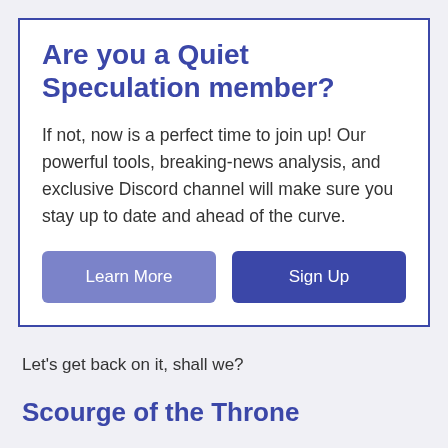Are you a Quiet Speculation member?
If not, now is a perfect time to join up! Our powerful tools, breaking-news analysis, and exclusive Discord channel will make sure you stay up to date and ahead of the curve.
Learn More
Sign Up
Let's get back on it, shall we?
Scourge of the Throne